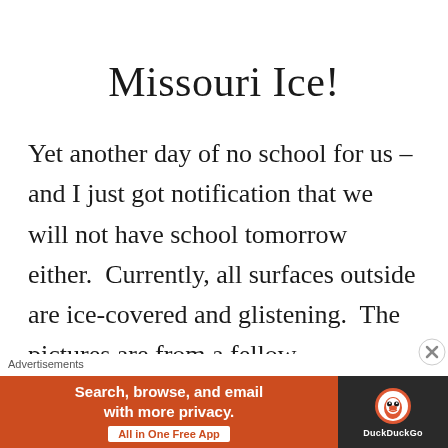Missouri Ice!
Yet another day of no school for us – and I just got notification that we will not have school tomorrow either.  Currently, all surfaces outside are ice-covered and glistening.  The pictures are from a fellow
Advertisements
[Figure (screenshot): DuckDuckGo advertisement banner with orange background. Text reads: 'Search, browse, and email with more privacy. All in One Free App' with DuckDuckGo logo on dark right panel.]